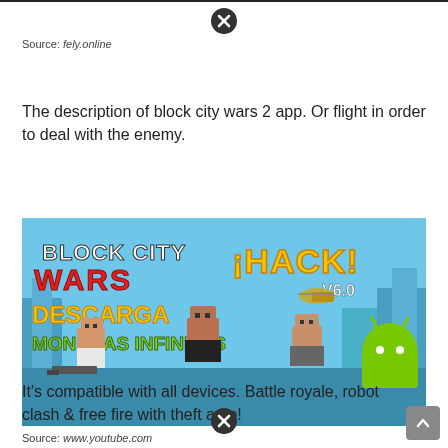Source: fely.online
The description of block city wars 2 app. Or flight in order to deal with the enemy.
[Figure (photo): Block City Wars hack promo image showing block-style characters holding weapons with text 'BLOCK CITY WARS ¡HACK! V6.0 DESCARGA MONEDAS INFINITAS' and Android mascot]
Source: www.youtube.com
It's compatible with all devices. Battle royale, robot clash & free fire with theft auto!